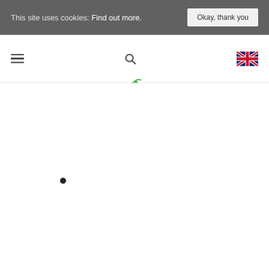This site uses cookies: Find out more. | Okay, thank you
[Figure (logo): Orchard Primary School logo with green apple/leaf icon and text 'Orchard Primary School' in green]
[Figure (illustration): UK flag icon (Union Jack) in top right navigation]
•